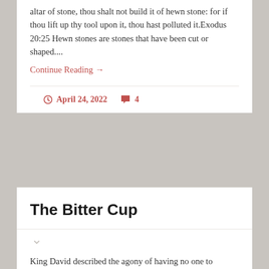altar of stone, thou shalt not build it of hewn stone: for if thou lift up thy tool upon it, thou hast polluted it.Exodus 20:25 Hewn stones are stones that have been cut or shaped....
Continue Reading →
April 24, 2022   4
The Bitter Cup
King David described the agony of having no one to comfort you in your adversity: I looked for some to take pity, but there was none; and for comforters, but I found none.They gave me also gall for my meat; and